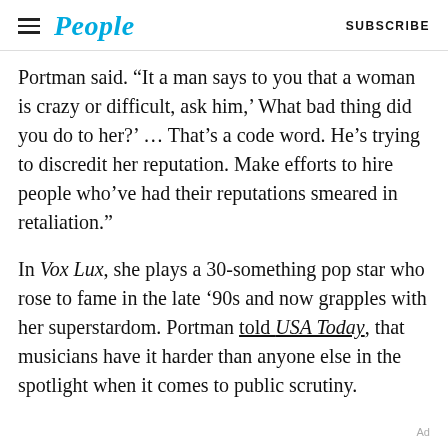People | SUBSCRIBE
Portman said. “It a man says to you that a woman is crazy or difficult, ask him,’ What bad thing did you do to her?’ … That’s a code word. He’s trying to discredit her reputation. Make efforts to hire people who’ve had their reputations smeared in retaliation.”
In Vox Lux, she plays a 30-something pop star who rose to fame in the late ’90s and now grapples with her superstardom. Portman told USA Today, that musicians have it harder than anyone else in the spotlight when it comes to public scrutiny.
Ad